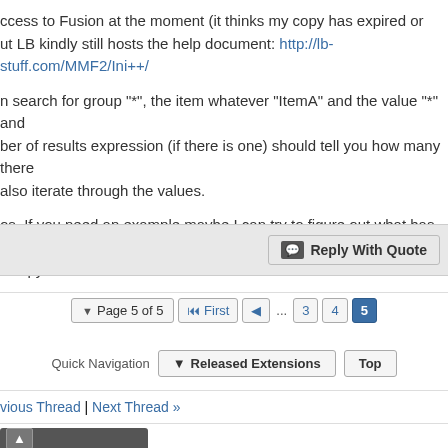ccess to Fusion at the moment (it thinks my copy has expired or ut LB kindly still hosts the help document: http://lb-stuff.com/MMF2/Ini++/
n search for group "*", the item whatever "ItemA" and the value "*" and ber of results expression (if there is one) should tell you how many there also iterate through the values.
os. If you need an example maybe I can try to figure out what has gone v copy.
Reply With Quote
Page 5 of 5  First  ...  3  4  5
Quick Navigation  Released Extensions  Top
vious Thread | Next Thread »